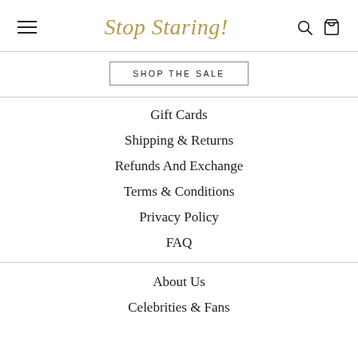Stop Staring!
SHOP THE SALE
Gift Cards
Shipping & Returns
Refunds And Exchange
Terms & Conditions
Privacy Policy
FAQ
About Us
Celebrities & Fans